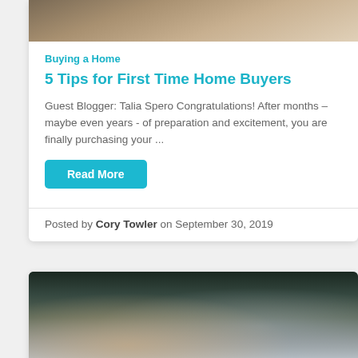[Figure (photo): Top portion of a photo showing keys and documents on a wooden surface, partially cropped at top of card]
Buying a Home
5 Tips for First Time Home Buyers
Guest Blogger: Talia Spero Congratulations! After months – maybe even years - of preparation and excitement, you are finally purchasing your ...
Read More
Posted by Cory Towler on September 30, 2019
[Figure (photo): Photo of a person signing documents with a pen, hands visible, business attire]